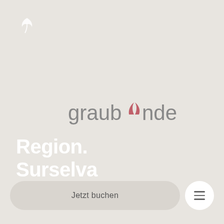[Figure (logo): Small white Graubünden bird/feather logo mark in top left corner]
[Figure (logo): Graubünden text logo in center of page, gray text with a pink/red stylized mountain/wave symbol replacing the letter ü]
Region.
Surselva
Jetzt buchen